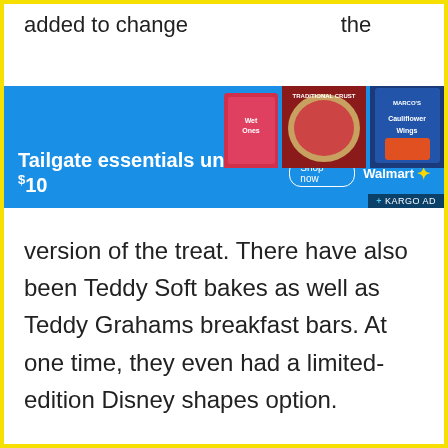added to change [products image] the [partial text obscured]
[Figure (infographic): Walmart advertisement banner with blue background showing 'Tailgate essentials under $10', a 'Shop now' button, Walmart logo with spark, and product images (Wet Ones, a pizza, and Cauliflower Wings). Bottom right shows '+ KARGO AD' label.]
version of the treat. There have also been Teddy Soft bakes as well as Teddy Grahams breakfast bars. At one time, they even had a limited-edition Disney shapes option.